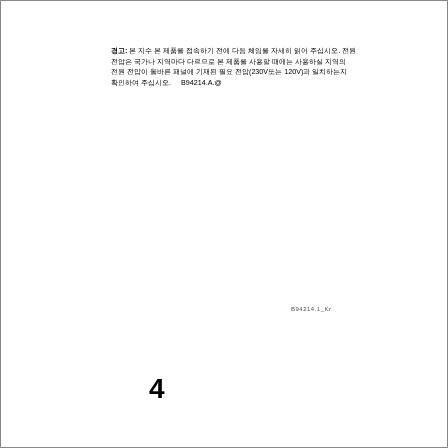경고: 본 지수 본 제품을 접속하기 전에 다음 체임을 자세히 읽어 주십시오. 전원 전압은 국가나 지역마다 다르므로 본 제품을 사용할 때에는 사용하실 지역의 전원 전압이 올바른 패널에 기재된 필요 전압(230V또는 120V)과 일치하는지 확인하여 주십시오.    B94214.A.@
B94214.1_Kr
4